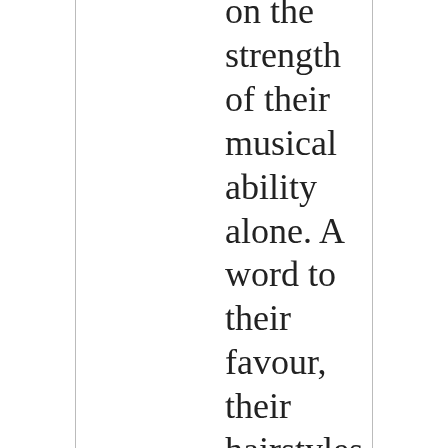on the strength of their musical ability alone. A word to their favour, their hairstyles all look pretty timeles